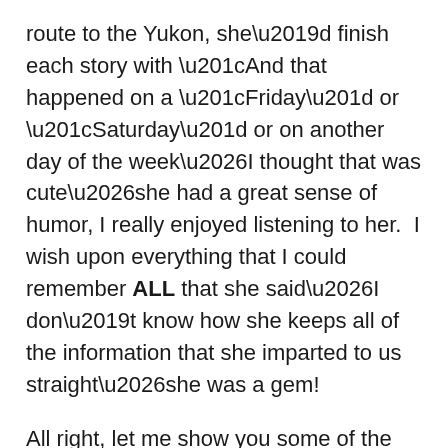route to the Yukon, she’d finish each story with “And that happened on a “Friday” or “Saturday” or on another day of the week…I thought that was cute…she had a great sense of humor, I really enjoyed listening to her.  I wish upon everything that I could remember ALL that she said…I don’t know how she keeps all of the information that she imparted to us straight…she was a gem!
All right, let me show you some of the sights we’d be seeing on our way up to Canada…I’m just going to show you a couple of screenshots from Chilkoot’s blurb from their website so that y’all can get a sense of this amazing company–they are very organized and your day is mapped out